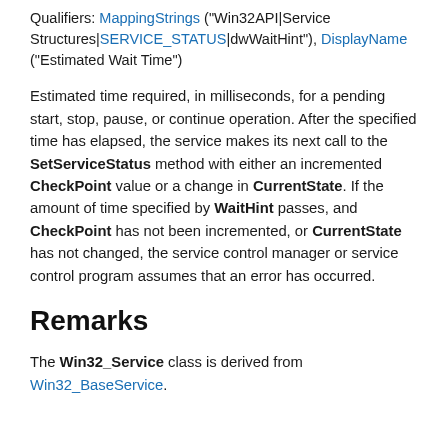Qualifiers: MappingStrings ("Win32API|Service Structures|SERVICE_STATUS|dwWaitHint"), DisplayName ("Estimated Wait Time")
Estimated time required, in milliseconds, for a pending start, stop, pause, or continue operation. After the specified time has elapsed, the service makes its next call to the SetServiceStatus method with either an incremented CheckPoint value or a change in CurrentState. If the amount of time specified by WaitHint passes, and CheckPoint has not been incremented, or CurrentState has not changed, the service control manager or service control program assumes that an error has occurred.
Remarks
The Win32_Service class is derived from Win32_BaseService.